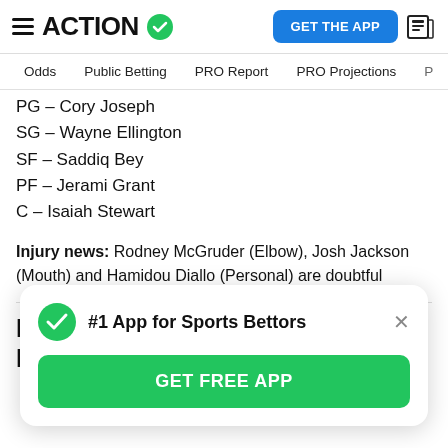ACTION #1 App for Sports Bettors | GET THE APP
Odds
Public Betting
PRO Report
PRO Projections
PG – Cory Joseph
SG – Wayne Ellington
SF – Saddiq Bey
PF – Jerami Grant
C – Isaiah Stewart
Injury news: Rodney McGruder (Elbow), Josh Jackson (Mouth) and Hamidou Diallo (Personal) are doubtful
Phoenix Suns vs. Los Angeles Lakers
#1 App for Sports Bettors GET FREE APP
SF – Mikal Bride...